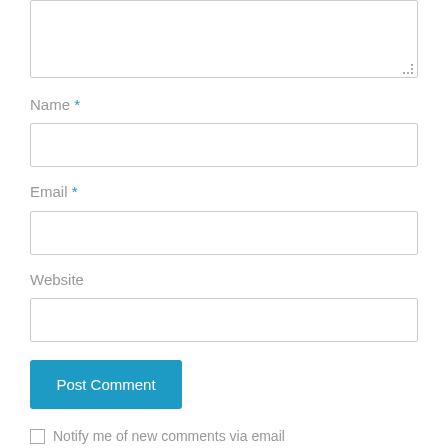[Figure (screenshot): Textarea input box (empty) with resize handle at bottom-right corner]
Name *
[Figure (screenshot): Text input field for Name (empty)]
Email *
[Figure (screenshot): Text input field for Email (empty)]
Website
[Figure (screenshot): Text input field for Website (empty)]
[Figure (screenshot): Blue button labeled 'Post Comment']
Notify me of new comments via email